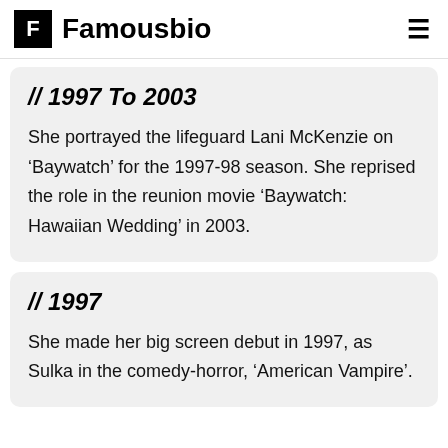F Famousbio
// 1997 To 2003
She portrayed the lifeguard Lani McKenzie on ‘Baywatch’ for the 1997-98 season. She reprised the role in the reunion movie ‘Baywatch: Hawaiian Wedding’ in 2003.
// 1997
She made her big screen debut in 1997, as Sulka in the comedy-horror, ‘American Vampire’.